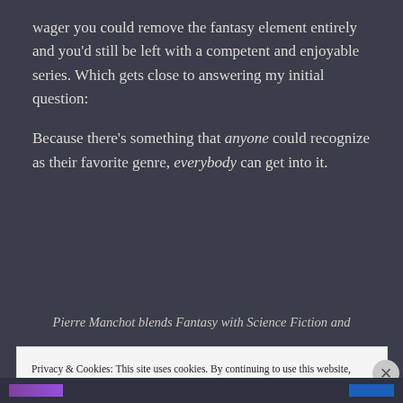wager you could remove the fantasy element entirely and you'd still be left with a competent and enjoyable series. Which gets close to answering my initial question:
Because there's something that anyone could recognize as their favorite genre, everybody can get into it.
Pierre Manchot blends Fantasy with Science Fiction and
Privacy & Cookies: This site uses cookies. By continuing to use this website, you agree to their use.
To find out more, including how to control cookies, see here: Cookie Policy
Close and accept